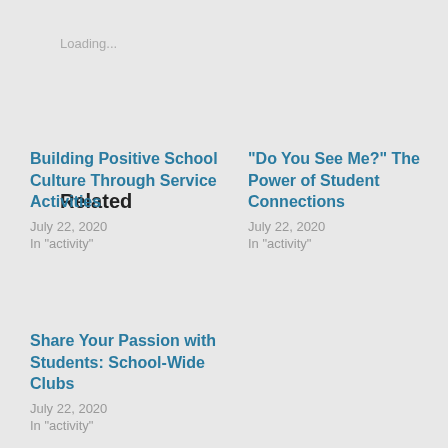Loading...
Related
Building Positive School Culture Through Service Activities
July 22, 2020
In "activity"
“Do You See Me?” The Power of Student Connections
July 22, 2020
In "activity"
Share Your Passion with Students: School-Wide Clubs
July 22, 2020
In "activity"